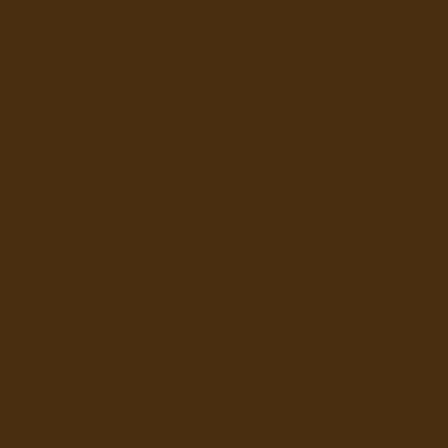From: WbG 2.0
Send private message
WotC d... product... the pro... Prevent... suits (u... anytime... One of ... because... the RIA... WotC n... hope th... when th... return. ... Unfortu... so man... Lets ho...
Be Well... Theocra...
Theocra...
Wolfsire
Tue Apr 07
I spent a... didn't gi...
[Figure (illustration): Medieval-style illustration of a figure, appears to be a knight or warrior in reddish-brown tones on a parchment-colored background]